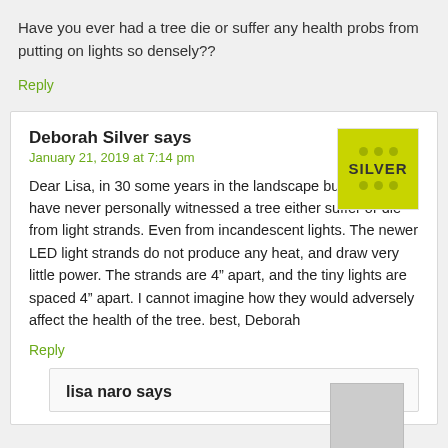Have you ever had a tree die or suffer any health probs from putting on lights so densely??
Reply
Deborah Silver says
January 21, 2019 at 7:14 pm
[Figure (logo): Yellow-green square logo with dots and SILVER text]
Dear Lisa, in 30 some years in the landscape business, I have never personally witnessed a tree either suffer or die from light strands. Even from incandescent lights. The newer LED light strands do not produce any heat, and draw very little power. The strands are 4” apart, and the tiny lights are spaced 4” apart. I cannot imagine how they would adversely affect the health of the tree. best, Deborah
Reply
lisa naro says